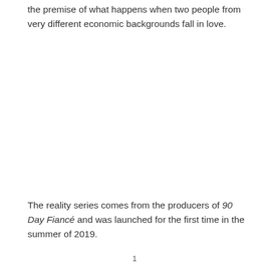the premise of what happens when two people from very different economic backgrounds fall in love.
The reality series comes from the producers of 90 Day Fiancé and was launched for the first time in the summer of 2019.
1